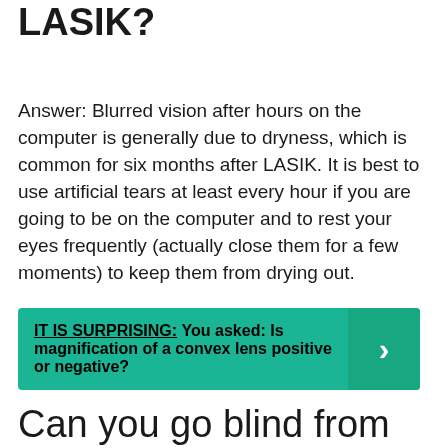Why is vision blurry after LASIK?
Answer: Blurred vision after hours on the computer is generally due to dryness, which is common for six months after LASIK. It is best to use artificial tears at least every hour if you are going to be on the computer and to rest your eyes frequently (actually close them for a few moments) to keep them from drying out.
IT IS SURPRISING: You asked: Is magnification of a convex lens positive or negative?
Can you go blind from